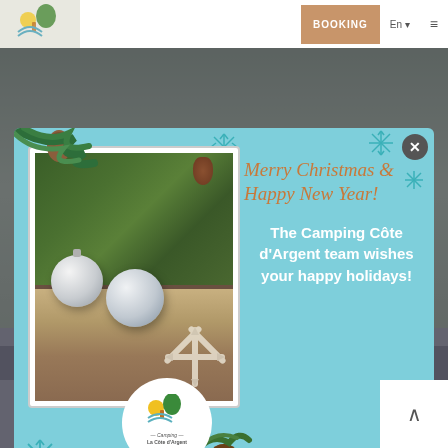[Figure (screenshot): Website screenshot of Camping La Côte d'Argent with navigation bar showing BOOKING button and logo, with footer navigation showing Pool complex, activities, Service]
[Figure (infographic): Christmas holiday popup modal with light blue background, photo of silver ornaments and pine branches with snowflake decoration, script text reading Merry Christmas & Happy New Year!, and message 'The Camping Côte d'Argent team wishes your happy holidays!' with Camping La Côte d'Argent 5-star logo circle]